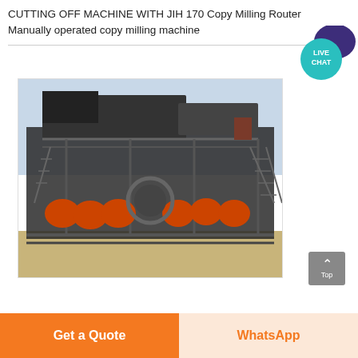CUTTING OFF MACHINE WITH JIH 170 Copy Milling Router Manually operated copy milling machine
[Figure (photo): Large industrial mining/processing machine with multiple conveyor belts, orange rotating drums, metal scaffolding and stairs, sitting on sandy ground outdoors.]
Get a Quote
WhatsApp